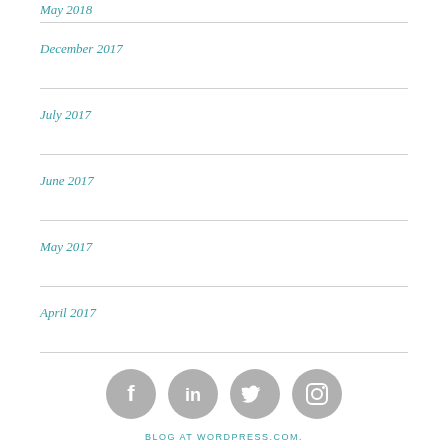May 2018
December 2017
July 2017
June 2017
May 2017
April 2017
[Figure (illustration): Social media icons: Facebook, LinkedIn, Twitter, Instagram in grey circles]
BLOG AT WORDPRESS.COM.